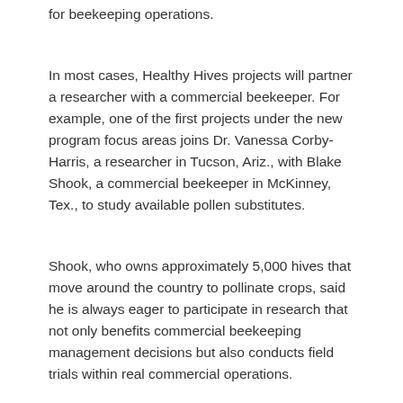for beekeeping operations.
In most cases, Healthy Hives projects will partner a researcher with a commercial beekeeper. For example, one of the first projects under the new program focus areas joins Dr. Vanessa Corby-Harris, a researcher in Tucson, Ariz., with Blake Shook, a commercial beekeeper in McKinney, Tex., to study available pollen substitutes.
Shook, who owns approximately 5,000 hives that move around the country to pollinate crops, said he is always eager to participate in research that not only benefits commercial beekeeping management decisions but also conducts field trials within real commercial operations.
"Dr. Corby-Harris has been very willing to conduct this project not only in the field within commercial operations, but also in a way